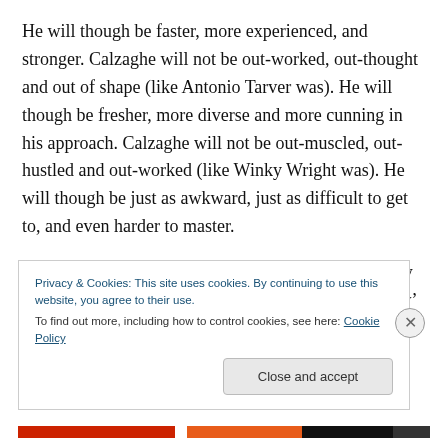He will though be faster, more experienced, and stronger. Calzaghe will not be out-worked, out-thought and out of shape (like Antonio Tarver was). He will though be fresher, more diverse and more cunning in his approach. Calzaghe will not be out-muscled, out-hustled and out-worked (like Winky Wright was). He will though be just as awkward, just as difficult to get to, and even harder to master.
There was a time when Winky Wright was universally acknowledged as ‘the world’s most difficult southpaw’ – and perhaps the most difficult style to face of everyone not
Privacy & Cookies: This site uses cookies. By continuing to use this website, you agree to their use.
To find out more, including how to control cookies, see here: Cookie Policy